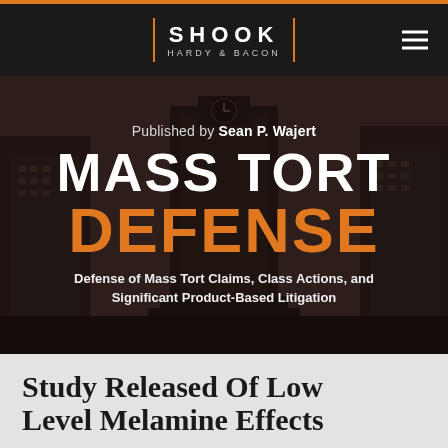SHOOK HARDY & BACON
Published by Sean P. Wajert
MASS TORT DEFENSE
Defense of Mass Tort Claims, Class Actions, and Significant Product-Based Litigation
Study Released Of Low Level Melamine Effects